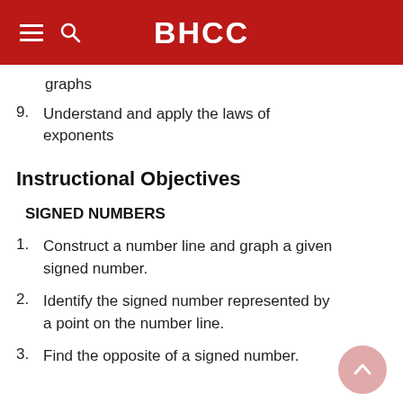BHCC
graphs
9. Understand and apply the laws of exponents
Instructional Objectives
SIGNED NUMBERS
1. Construct a number line and graph a given signed number.
2. Identify the signed number represented by a point on the number line.
3. Find the opposite of a signed number.